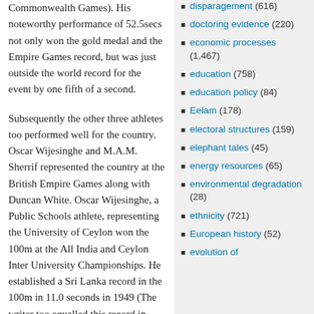Commonwealth Games). His noteworthy performance of 52.5secs not only won the gold medal and the Empire Games record, but was just outside the world record for the event by one fifth of a second.
Subsequently the other three athletes too performed well for the country. Oscar Wijesinghe and M.A.M. Sherrif represented the country at the British Empire Games along with Duncan White. Oscar Wijesinghe, a Public Schools athlete, representing the University of Ceylon won the 100m at the All India and Ceylon Inter University Championships. He established a Sri Lanka record in the 100m in 11.0 seconds in 1949 (The writer too equalled this record in 1955).
Lakshman Kadirgamar won the 110m Hurdles event at the Public Schools Meet and later won
disparagement (616)
doctoring evidence (220)
economic processes (1,467)
education (758)
education policy (84)
Eelam (178)
electoral structures (159)
elephant tales (45)
energy resources (65)
environmental degradation (28)
ethnicity (721)
European history (52)
evolution of